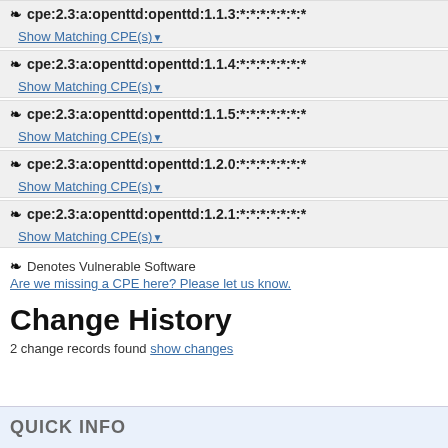cpe:2.3:a:openttd:openttd:1.1.3:*:*:*:*:*:*:*  Show Matching CPE(s)
cpe:2.3:a:openttd:openttd:1.1.4:*:*:*:*:*:*:*  Show Matching CPE(s)
cpe:2.3:a:openttd:openttd:1.1.5:*:*:*:*:*:*:*  Show Matching CPE(s)
cpe:2.3:a:openttd:openttd:1.2.0:*:*:*:*:*:*:*  Show Matching CPE(s)
cpe:2.3:a:openttd:openttd:1.2.1:*:*:*:*:*:*:*  Show Matching CPE(s)
Denotes Vulnerable Software
Are we missing a CPE here? Please let us know.
Change History
2 change records found show changes
QUICK INFO